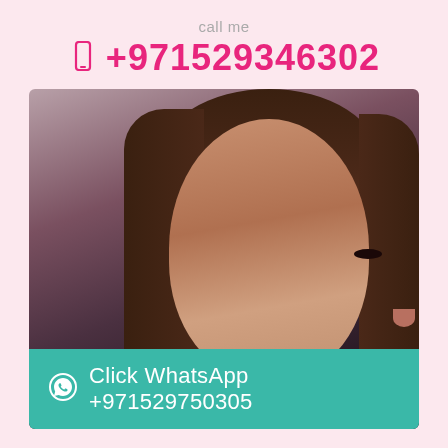call me
+971529346302
[Figure (photo): Close-up portrait photo of a young woman with long dark hair and dark eyes, looking at the camera, with a WhatsApp contact bar overlay at the bottom reading 'Click WhatsApp +971529750305']
Click WhatsApp +971529750305